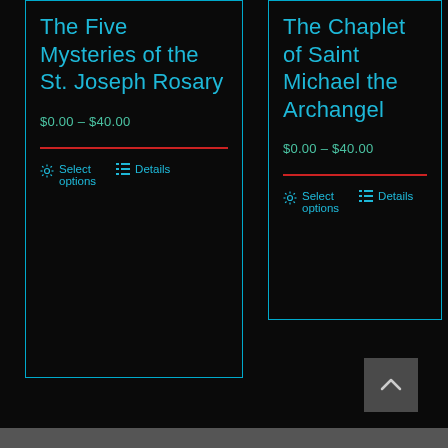The Five Mysteries of the St. Joseph Rosary
$0.00 – $40.00
Select options
Details
The Chaplet of Saint Michael the Archangel
$0.00 – $40.00
Select options
Details